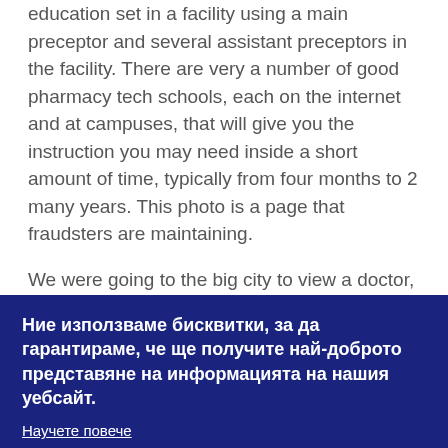education set in a facility using a main preceptor and several assistant preceptors in the facility. There are very a number of good pharmacy tech schools, each on the internet and at campuses, that will give you the instruction you may need inside a short amount of time, typically from four months to 2 many years. This photo is a page that fraudsters are maintaining.
We were going to the big city to view a doctor, in order that it made sense. Drugs could be ordered by simply entering the pharmacy website and placing an order which has a click in the mouse button. In order to register using the GPh - C, pharmacy technicians must obtain the 3 Level 3 qualifications.
Ние използваме бисквитки, за да гарантираме, че ще получите най-доброто представяне на информацията на нашия уебсайт.
Научете повече
Разбрах | Decline